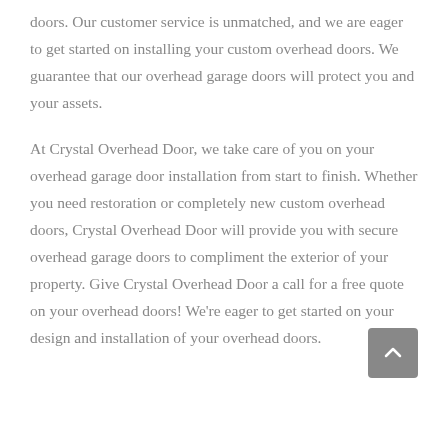doors. Our customer service is unmatched, and we are eager to get started on installing your custom overhead doors. We guarantee that our overhead garage doors will protect you and your assets.
At Crystal Overhead Door, we take care of you on your overhead garage door installation from start to finish. Whether you need restoration or completely new custom overhead doors, Crystal Overhead Door will provide you with secure overhead garage doors to compliment the exterior of your property. Give Crystal Overhead Door a call for a free quote on your overhead doors! We're eager to get started on your design and installation of your overhead doors.